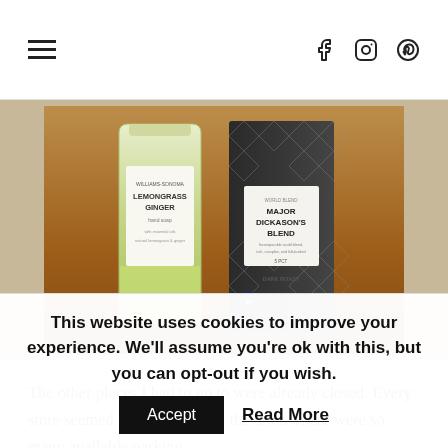Navigation header with hamburger menu and social icons (Facebook, Instagram, Pinterest)
[Figure (photo): Photo of two products on a wooden surface: a Williams-Sonoma Lemongrass Ginger hand soap bottle (clear/green) and a Peet's Coffee Major Dickason's Blend Dark Roast box (dark with geometric pattern)]
The other places I had to go to were already closed. Every store seemed to have notes on the door. There were so many available parking
This website uses cookies to improve your experience. We'll assume you're ok with this, but you can opt-out if you wish.
Accept
Read More